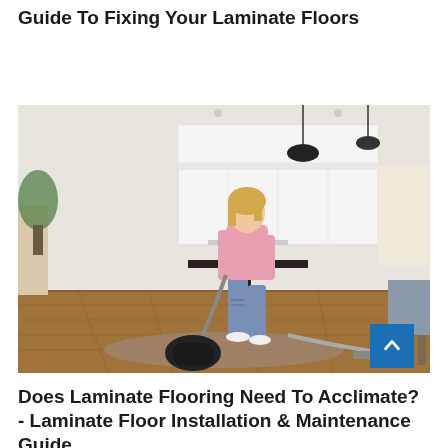Guide To Fixing Your Laminate Floors
[Figure (photo): Woman in pink top and ripped jeans vacuuming a laminate floor in a modern open-plan kitchen/living area with white cabinets, hanging pendant lights, and wooden laminate flooring. A black canister vacuum cleaner is on the floor beside her.]
Does Laminate Flooring Need To Acclimate? - Laminate Floor Installation & Maintenance Guide